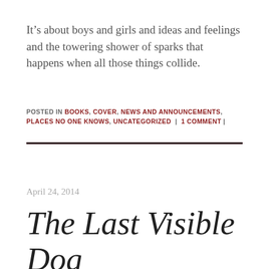It’s about boys and girls and ideas and feelings and the towering shower of sparks that happens when all those things collide.
POSTED IN BOOKS, COVER, NEWS AND ANNOUNCEMENTS, PLACES NO ONE KNOWS, UNCATEGORIZED | 1 COMMENT |
April 24, 2014
The Last Visible Dog